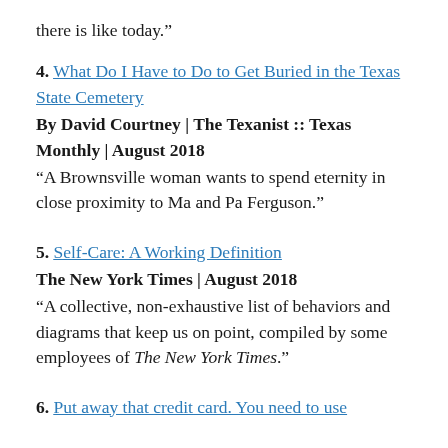there is like today.”
4. What Do I Have to Do to Get Buried in the Texas State Cemetery
By David Courtney | The Texanist :: Texas Monthly | August 2018
“A Brownsville woman wants to spend eternity in close proximity to Ma and Pa Ferguson.”
5. Self-Care: A Working Definition
The New York Times | August 2018
“A collective, non-exhaustive list of behaviors and diagrams that keep us on point, compiled by some employees of The New York Times.”
6. Put away that credit card. You need to use